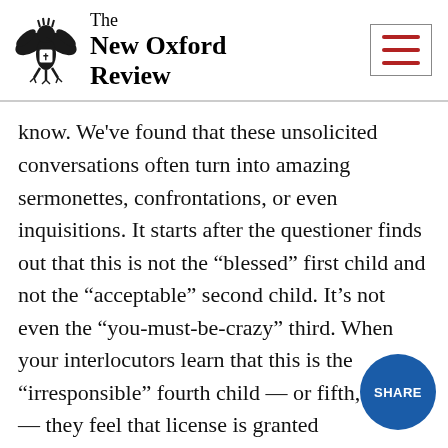[Figure (logo): The New Oxford Review masthead with eagle crest logo on the left and hamburger menu icon on the right]
know. We've found that these unsolicited conversations often turn into amazing sermonettes, confrontations, or even inquisitions. It starts after the questioner finds out that this is not the “blessed” first child and not the “acceptable” second child. It’s not even the “you-must-be-crazy” third. When your interlocutors learn that this is the “irresponsible” fourth child — or fifth, sixth — they feel that license is granted